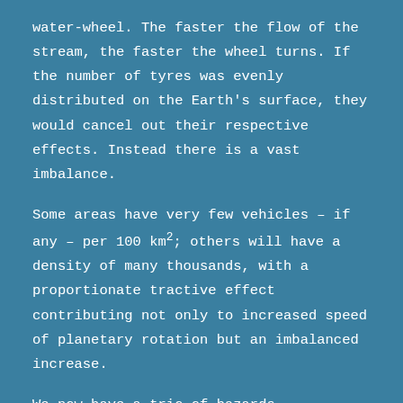water-wheel. The faster the flow of the stream, the faster the wheel turns. If the number of tyres was evenly distributed on the Earth's surface, they would cancel out their respective effects. Instead there is a vast imbalance.
Some areas have very few vehicles – if any – per 100 km²; others will have a density of many thousands, with a proportionate tractive effect contributing not only to increased speed of planetary rotation but an imbalanced increase.
We now have a trio of hazards attributable to pneumatic tyres: thinner air, faster planetary rotation, and a wobble in that rotation. How exactly do they contribute so profoundly to climate change imperilling the survival of our planet?